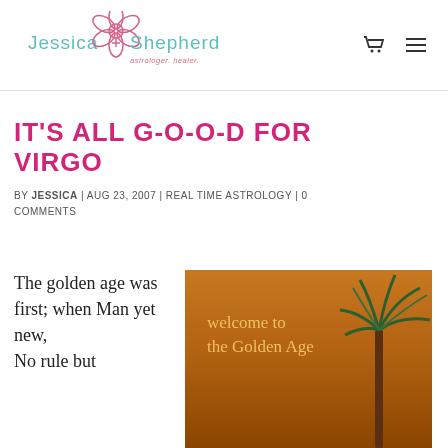[Figure (logo): Jessica Shepherd astrologer healer logo with flower/feminine symbol and teal text]
IT'S ALL G-O-O-D FOR VIRGO
BY JESSICA | AUG 23, 2007 | REAL TIME ASTROLOGY | 0 COMMENTS
The golden age was first; when Man yet new, No rule but
[Figure (illustration): Golden age promotional image with text 'welcome to the Golden Age' and a palm tree silhouette on golden brown background]